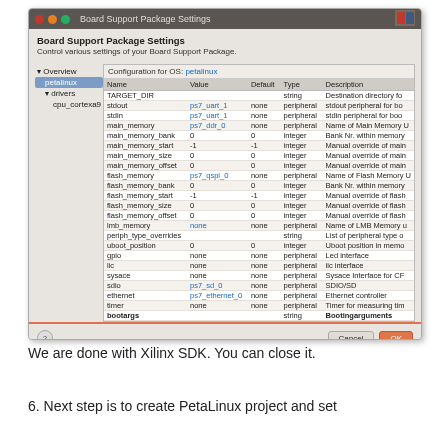[Figure (screenshot): Board Support Package Settings dialog in Xilinx SDK showing configuration for OS: petalinux. Left sidebar has Overview > petalinux > drivers > cpu_cortexa9. Main panel shows a table with columns Name, Value, Default, Type, Description listing BSP settings like TARGET_DIR, stdout, stdin, main_memory, flash_memory, gpio, ethernet, bootargs etc.]
We are done with Xilinx SDK. You can close it.
6. Next step is to create PetaLinux project and set